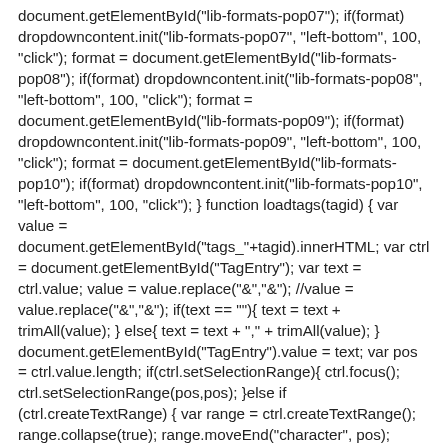document.getElementById("lib-formats-pop07"); if(format) dropdowncontent.init("lib-formats-pop07", "left-bottom", 100, "click"); format = document.getElementById("lib-formats-pop08"); if(format) dropdowncontent.init("lib-formats-pop08", "left-bottom", 100, "click"); format = document.getElementById("lib-formats-pop09"); if(format) dropdowncontent.init("lib-formats-pop09", "left-bottom", 100, "click"); format = document.getElementById("lib-formats-pop10"); if(format) dropdowncontent.init("lib-formats-pop10", "left-bottom", 100, "click"); } function loadtags(tagid) { var value = document.getElementById("tags_"+tagid).innerHTML; var ctrl = document.getElementById("TagEntry"); var text = ctrl.value; value = value.replace("&","&"); //value = value.replace("&","&"); if(text == ""){ text = text + trimAll(value); } else{ text = text + "," + trimAll(value); } document.getElementById("TagEntry").value = text; var pos = ctrl.value.length; if(ctrl.setSelectionRange){ ctrl.focus(); ctrl.setSelectionRange(pos,pos); }else if (ctrl.createTextRange) { var range = ctrl.createTextRange(); range.collapse(true); range.moveEnd("character", pos);